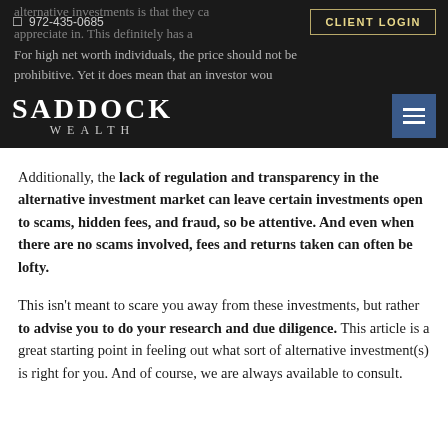972-435-0685 | CLIENT LOGIN | SADDOCK WEALTH
alternative investments is that they can appreciate in value over time. For high net worth individuals, the price should not be prohibitive. Yet it does mean that an investor would want considerable judgement and caution before putting money down.
Additionally, the lack of regulation and transparency in the alternative investment market can leave certain investments open to scams, hidden fees, and fraud, so be attentive. And even when there are no scams involved, fees and returns taken can often be lofty.
This isn't meant to scare you away from these investments, but rather to advise you to do your research and due diligence. This article is a great starting point in feeling out what sort of alternative investment(s) is right for you. And of course, we are always available to consult.